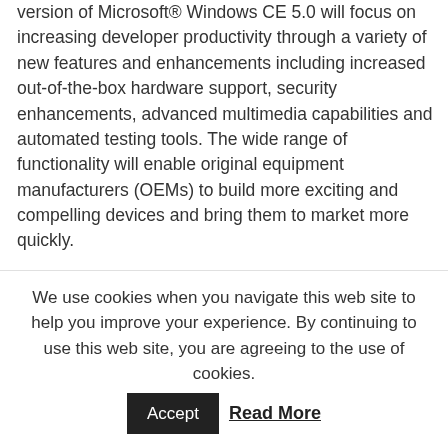version of Microsoft® Windows CE 5.0 will focus on increasing developer productivity through a variety of new features and enhancements including increased out-of-the-box hardware support, security enhancements, advanced multimedia capabilities and automated testing tools. The wide range of functionality will enable original equipment manufacturers (OEMs) to build more exciting and compelling devices and bring them to market more quickly.
More than 60 industry-leading OEMs, silicon vendors and solution integrators are already working on solutions for Windows CE 5.0 as part of Microsoft's Joint Development Partner program. Some of these companies include industry leaders such as Biostar Group, Costron Corp., Humax Co.
We use cookies when you navigate this web site to help you improve your experience. By continuing to use this web site, you are agreeing to the use of cookies. Accept Read More